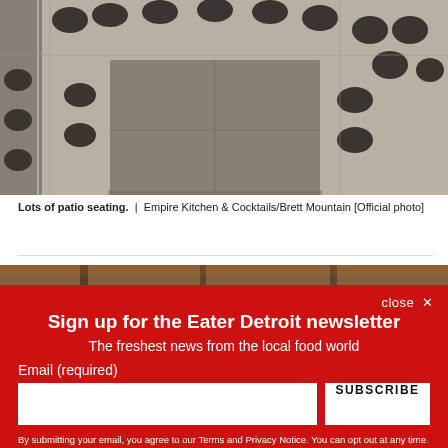[Figure (photo): Restaurant patio seating area with round tables and black chairs on a concrete/tile floor, viewed from above at an angle.]
Lots of patio seating.  |  Empire Kitchen & Cocktails/Brett Mountain [Official photo]
[Figure (photo): Partial view of a second restaurant interior photo, showing warm wooden tones.]
close ✕
Sign up for the Eater Detroit newsletter
The freshest news from the local food world
Email (required)
SUBSCRIBE
By submitting your email, you agree to our Terms and Privacy Notice. You can opt out at any time. This site is protected by reCAPTCHA and the Google Privacy Policy and Terms of Service apply.